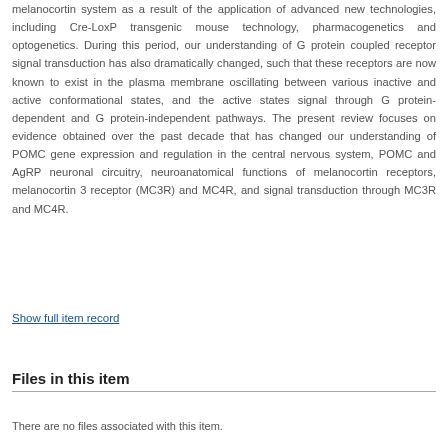melanocortin system as a result of the application of advanced new technologies, including Cre-LoxP transgenic mouse technology, pharmacogenetics and optogenetics. During this period, our understanding of G protein coupled receptor signal transduction has also dramatically changed, such that these receptors are now known to exist in the plasma membrane oscillating between various inactive and active conformational states, and the active states signal through G protein-dependent and G protein-independent pathways. The present review focuses on evidence obtained over the past decade that has changed our understanding of POMC gene expression and regulation in the central nervous system, POMC and AgRP neuronal circuitry, neuroanatomical functions of melanocortin receptors, melanocortin 3 receptor (MC3R) and MC4R, and signal transduction through MC3R and MC4R.
Show full item record
Files in this item
There are no files associated with this item.